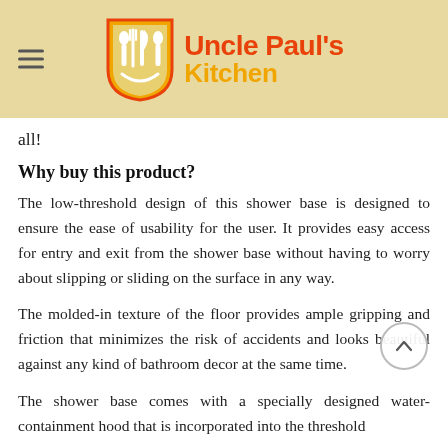[Figure (logo): Uncle Paul's Kitchen logo: orange shield with cutlery, red and orange text on beige background with hamburger menu icon]
all!
Why buy this product?
The low-threshold design of this shower base is designed to ensure the ease of usability for the user. It provides easy access for entry and exit from the shower base without having to worry about slipping or sliding on the surface in any way.
The molded-in texture of the floor provides ample gripping and friction that minimizes the risk of accidents and looks beautiful against any kind of bathroom decor at the same time.
The shower base comes with a specially designed water-containment hood that is incorporated into the threshold